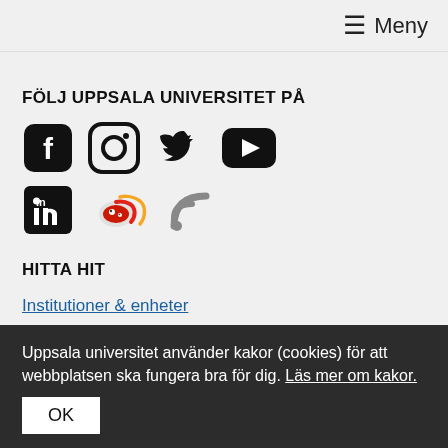☰ Meny
FÖLJ UPPSALA UNIVERSITET PÅ
[Figure (illustration): Social media icons: Facebook, Instagram, Twitter, YouTube (row 1); LinkedIn, Weibo, RSS (row 2)]
HITTA HIT
Institutioner & enheter
Universitetsområdet
Museer & trädgårdar
Uppsala universitet använder kakor (cookies) för att webbplatsen ska fungera bra för dig. Läs mer om kakor.
OK